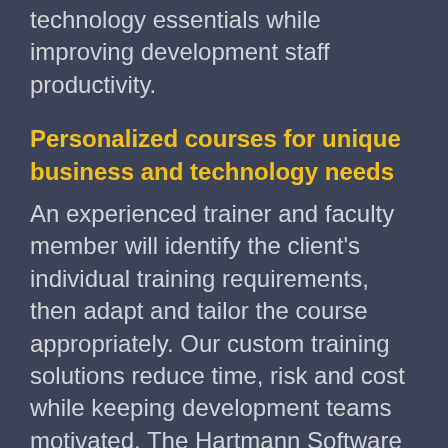technology essentials while improving development staff productivity.
Personalized courses for unique business and technology needs
An experienced trainer and faculty member will identify the client's individual training requirements, then adapt and tailor the course appropriately. Our custom training solutions reduce time, risk and cost while keeping development teams motivated. The Hartmann Software Group's faculty consists of veteran software engineers, some of whom currently teach at several Colorado Universities. Our faculty's wealth of knowledge combined with their continued real world consulting experience enables us to produce more effective training programs to ensure our clients receive the highest quality and most relevant instruction